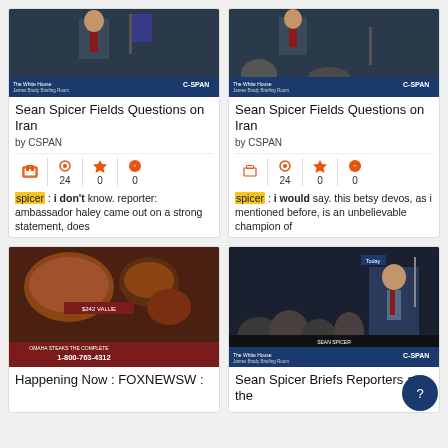[Figure (screenshot): Thumbnail of CSPAN broadcast showing Sean Spicer at White House Daily Briefing Room podium]
Sean Spicer Fields Questions on Iran
by CSPAN
24 views, 0 stars, 0 quotes
spicer: i don't know. reporter: ambassador haley came out on a strong statement, does
[Figure (screenshot): Thumbnail of CSPAN broadcast showing Sean Spicer at White House Daily Briefing Room with reporters]
Sean Spicer Fields Questions on Iran
by CSPAN
24 views, 0 stars, 0 quotes
spicer: i would say. this betsy devos, as i mentioned before, is an unbelievable champion of
[Figure (photo): Food advertisement thumbnail showing various meats and dishes, with phone number 1-800-763-4312]
Happening Now : FOXNEWSW :
[Figure (screenshot): Thumbnail of CSPAN broadcast showing Sean Spicer briefing reporters at the White House]
Sean Spicer Briefs Reporters at the